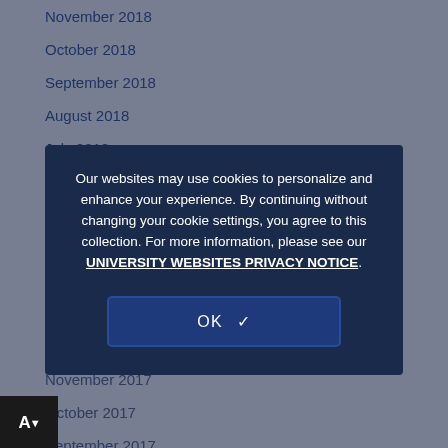November 2018
October 2018
September 2018
August 2018
July 2018
June 2018
April 2018
March 2018
February 2018
January 2018
December 2017
November 2017
October 2017
September 2017
June 2017
Our websites may use cookies to personalize and enhance your experience. By continuing without changing your cookie settings, you agree to this collection. For more information, please see our UNIVERSITY WEBSITES PRIVACY NOTICE.
OK ✓